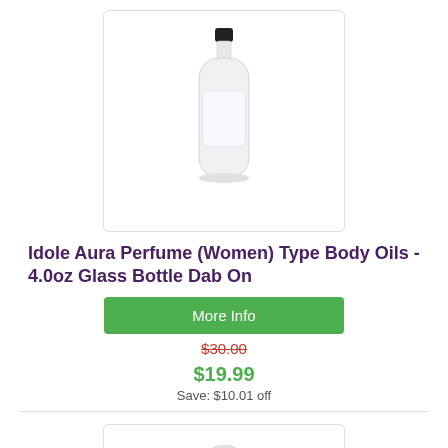[Figure (photo): Glass bottle with black cap for body oil, clear/white bottle on white background]
Idole Aura Perfume (Women) Type Body Oils - 4.0oz Glass Bottle Dab On
More Info
$30.00 (strikethrough)
$19.99
Save: $10.01 off
[Figure (photo): White plastic squeeze bottle with white cap on white background]